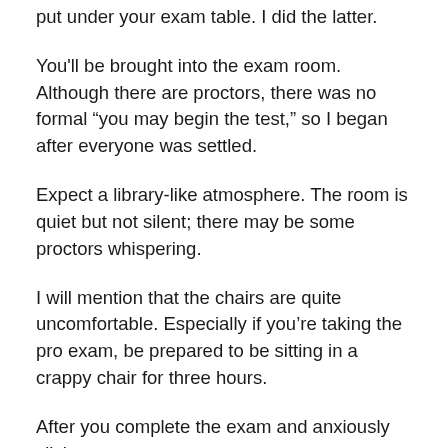put under your exam table. I did the latter.
You'll be brought into the exam room. Although there are proctors, there was no formal “you may begin the test,” so I began after everyone was settled.
Expect a library-like atmosphere. The room is quiet but not silent; there may be some proctors whispering.
I will mention that the chairs are quite uncomfortable. Especially if you’re taking the pro exam, be prepared to be sitting in a crappy chair for three hours.
After you complete the exam and anxiously click